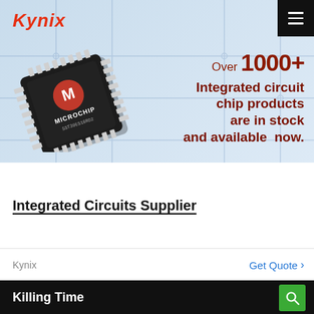[Figure (screenshot): Kynix website banner with a Microchip IC chip image on a light blue background, Kynix logo top-left, hamburger menu top-right, and red promotional text on the right.]
Integrated Circuits Supplier
Kynix
Get Quote >
Killing Time